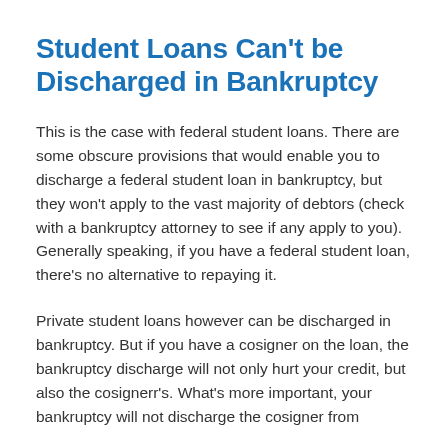Student Loans Can't be Discharged in Bankruptcy
This is the case with federal student loans. There are some obscure provisions that would enable you to discharge a federal student loan in bankruptcy, but they won't apply to the vast majority of debtors (check with a bankruptcy attorney to see if any apply to you). Generally speaking, if you have a federal student loan, there's no alternative to repaying it.
Private student loans however can be discharged in bankruptcy. But if you have a cosigner on the loan, the bankruptcy discharge will not only hurt your credit, but also the cosignerr's. What's more important, your bankruptcy will not discharge the cosigner from